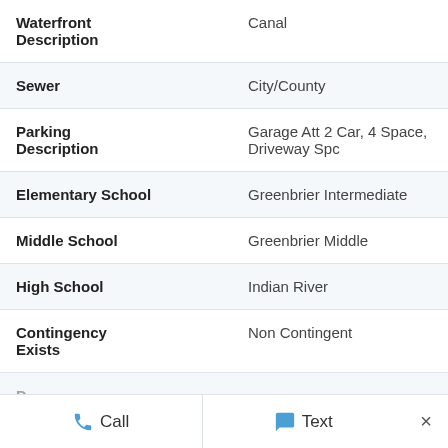| Field | Value |
| --- | --- |
| Waterfront Description | Canal |
| Sewer | City/County |
| Parking Description | Garage Att 2 Car, 4 Space, Driveway Spc |
| Elementary School | Greenbrier Intermediate |
| Middle School | Greenbrier Middle |
| High School | Indian River |
| Contingency Exists | Non Contingent |
| Days on Market |  |
Call   Text   ×